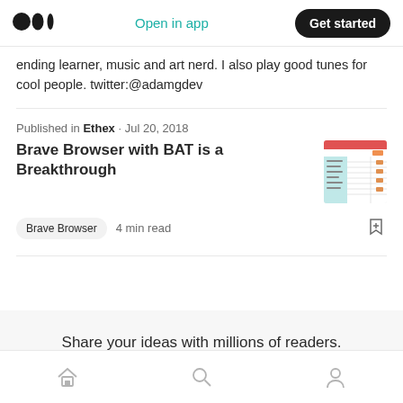Medium logo | Open in app | Get started
ending learner, music and art nerd. I also play good tunes for cool people. twitter:@adamgdev
Published in Ethex · Jul 20, 2018
Brave Browser with BAT is a Breakthrough
[Figure (screenshot): Thumbnail screenshot of an article showing a table-like interface with red header bar and grid data.]
Brave Browser  4 min read
Share your ideas with millions of readers.
Write on Medium
Home | Search | Profile